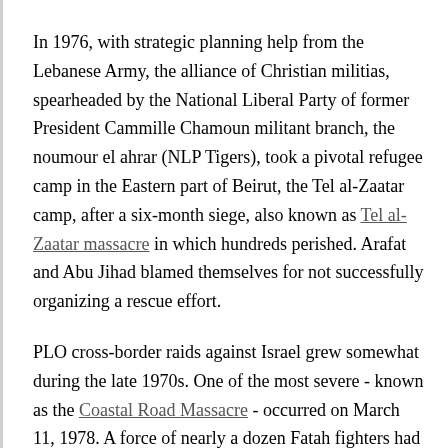In 1976, with strategic planning help from the Lebanese Army, the alliance of Christian militias, spearheaded by the National Liberal Party of former President Cammille Chamoun militant branch, the noumour el ahrar (NLP Tigers), took a pivotal refugee camp in the Eastern part of Beirut, the Tel al-Zaatar camp, after a six-month siege, also known as Tel al-Zaatar massacre in which hundreds perished. Arafat and Abu Jihad blamed themselves for not successfully organizing a rescue effort.
PLO cross-border raids against Israel grew somewhat during the late 1970s. One of the most severe - known as the Coastal Road Massacre - occurred on March 11, 1978. A force of nearly a dozen Fatah fighters had their last...